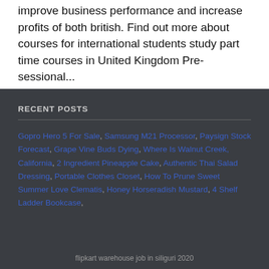improve business performance and increase profits of both british. Find out more about courses for international students study part time courses in United Kingdom Pre-sessional...
RECENT POSTS
Gopro Hero 5 For Sale, Samsung M21 Processor, Paysign Stock Forecast, Grape Vine Buds Dying, Where Is Walnut Creek, California, 2 Ingredient Pineapple Cake, Authentic Thai Salad Dressing, Portable Clothes Closet, How To Prune Sweet Summer Love Clematis, Honey Horseradish Mustard, 4 Shelf Ladder Bookcase
flipkart warehouse job in siliguri 2020